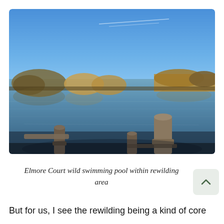[Figure (photo): A calm natural lake or pond with blue sky reflected on the water surface. Bare winter trees and reeds line the far bank. In the foreground, wooden dock posts are visible, viewed from a low angle as if from a boat or dock.]
Elmore Court wild swimming pool within rewilding area
But for us, I see the rewilding being a kind of core